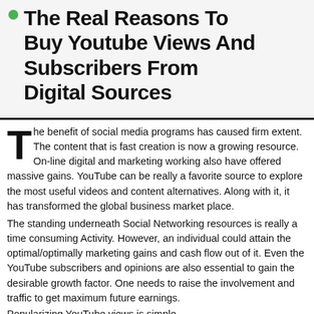The Real Reasons To Buy Youtube Views And Subscribers From Digital Sources
The benefit of social media programs has caused firm extent. The content that is fast creation is now a growing resource. On-line digital and marketing working also have offered massive gains. YouTube can be really a favorite source to explore the most useful videos and content alternatives. Along with it, it has transformed the global business market place.
The standing underneath Social Networking resources is really a time consuming Activity. However, an individual could attain the optimal/optimally marketing gains and cash flow out of it. Even the YouTube subscribers and opinions are also essential to gain the desirable growth factor. One needs to raise the involvement and traffic to get maximum future earnings.
Popularizing YouTube views is simple...